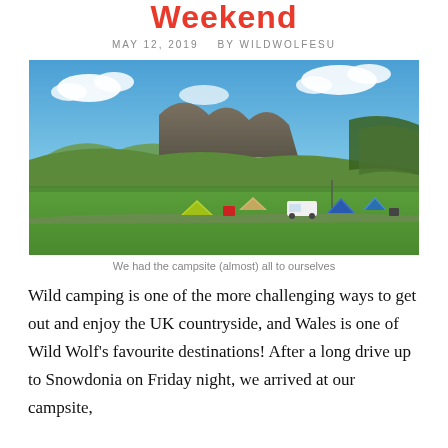Weekend
MAY 12, 2019   BY WILDWOLFESU
[Figure (photo): A campsite in Snowdonia, Wales. Green grassy field with several tents and a van scattered across it, surrounded by hills and trees under a blue sky with white clouds. A mountain peak is visible in the background.]
We had the campsite (almost) all to ourselves
Wild camping is one of the more challenging ways to get out and enjoy the UK countryside, and Wales is one of Wild Wolf's favourite destinations! After a long drive up to Snowdonia on Friday night, we arrived at our campsite,